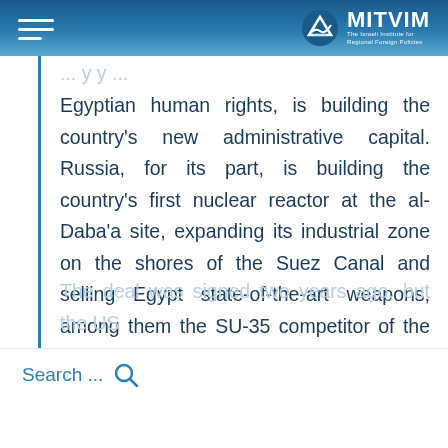MITVIM – The Israeli Institute for Regional Foreign Policies
Egyptian human rights, is building the country's new administrative capital. Russia, for its part, is building the country's first nuclear reactor at the al-Daba'a site, expanding its industrial zone on the shores of the Suez Canal and selling Egypt state-of-the-art weapons, among them the SU-35 competitor of the American F-35 stealth fighters.
The deal was signed two years ago, but the US … to impose sanctions, and at this